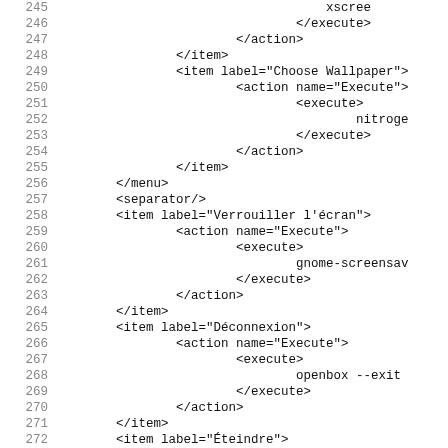Code listing lines 245-276 showing XML configuration
245     xscree
246         </execute>
247     </action>
248   </item>
249   <item label="Choose Wallpaper">
250         <action name="Execute">
251             <execute>
252                 nitroge
253             </execute>
254         </action>
255   </item>
256 </menu>
257 <separator/>
258 <item label="Verrouiller l'écran">
259       <action name="Execute">
260           <execute>
261               gnome-screensav
262           </execute>
263       </action>
264 </item>
265 <item label="Déconnexion">
266       <action name="Execute">
267           <execute>
268               openbox --exit
269           </execute>
270       </action>
271 </item>
272 <item label="Éteindre">
273       <action name="Execute">
274           <execute>
275               dbus-send --sys
276           </execute>